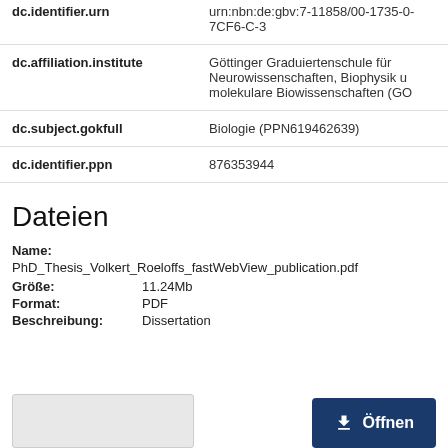| Field | Value |
| --- | --- |
| dc.identifier.urn | urn:nbn:de:gbv:7-11858/00-1735-0-7CF6-C-3 |
| dc.affiliation.institute | Göttinger Graduiertenschule für Neurowissenschaften, Biophysik u molekulare Biowissenschaften (GC |
| dc.subject.gokfull | Biologie (PPN619462639) |
| dc.identifier.ppn | 876353944 |
Dateien
Name:
PhD_Thesis_Volkert_Roeloffs_fastWebView_publication.pdf
Größe: 11.24Mb
Format: PDF
Beschreibung: Dissertation